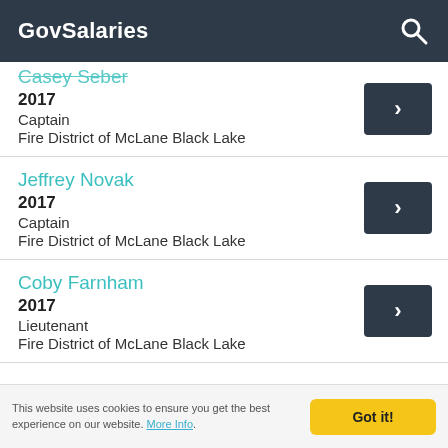GovSalaries
Casey Seber (partial/clipped name)
2017
Captain
Fire District of McLane Black Lake
Jeffrey Novak
2017
Captain
Fire District of McLane Black Lake
Coby Farnham
2017
Lieutenant
Fire District of McLane Black Lake
This website uses cookies to ensure you get the best experience on our website. More Info.